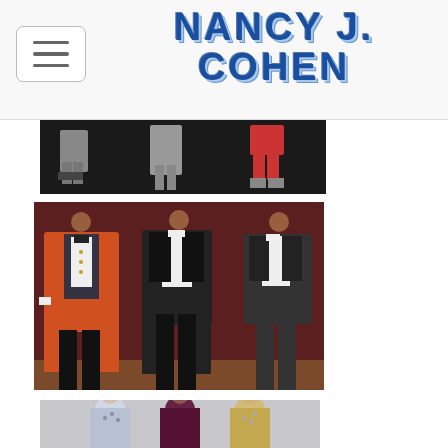[Figure (screenshot): Hamburger/toggle navigation menu button in top left corner]
NANCY J. COHEN
[Figure (photo): Display of historical/theatrical costumes on mannequins - pants and period clothing visible against dark background, partial top crop]
[Figure (photo): Three male mannequins displaying formal wear costumes: left mannequin in orange/red tailcoat with dark lapels, center mannequin in dark tailcoat with white shirt, right mannequin in dark suit jacket - all against a dark red/maroon background]
[Figure (photo): Three female mannequins in formal/ballgown style dresses - partially visible at bottom of page, showing upper torso area with ornate embellished gowns]